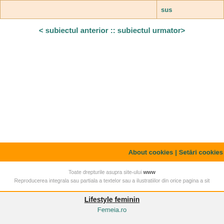|  | sus |
| --- | --- |
|  |
< subiectul anterior :: subiectul urmator>
About cookies | Setări cookies
Toate drepturile asupra site-ului www... Reproducerea integrala sau partiala a textelor sau a ilustratiilor din orice pagina a sit...
Lifestyle feminin
Femeia.ro
Cosmopolitan.ro
Harper'sBazaar.ro
Revistaloana.ro
Travel
NatGeo.ro